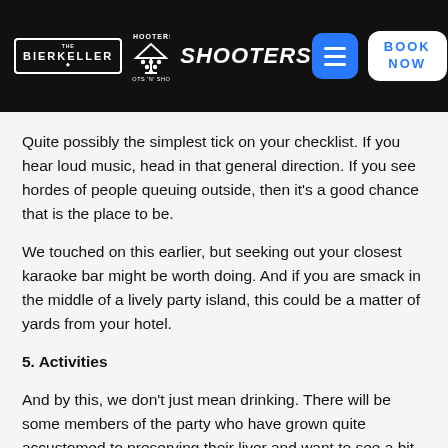Bierkeller Shooters — BOOK NOW
Quite possibly the simplest tick on your checklist. If you hear loud music, head in that general direction. If you see hordes of people queuing outside, then it’s a good chance that is the place to be.
We touched on this earlier, but seeking out your closest karaoke bar might be worth doing. And if you are smack in the middle of a lively party island, this could be a matter of yards from your hotel.
5. Activities
And by this, we don’t just mean drinking. There will be some members of the party who have grown quite accustomed to preserving their liver and want to see a bit of the place when they are there.